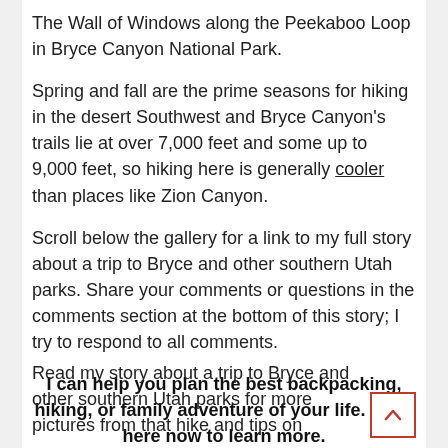The Wall of Windows along the Peekaboo Loop in Bryce Canyon National Park.
Spring and fall are the prime seasons for hiking in the desert Southwest and Bryce Canyon's trails lie at over 7,000 feet and some up to 9,000 feet, so hiking here is generally cooler than places like Zion Canyon.
Scroll below the gallery for a link to my full story about a trip to Bryce and other southern Utah parks. Share your comments or questions in the comments section at the bottom of this story; I try to respond to all comments.
I can help you plan the best backpacking, hiking, or family adventure of your life. Click here now to learn more.
Read my story about a trip to Bryce and other southern Utah parks for more pictures from that hike and tips on